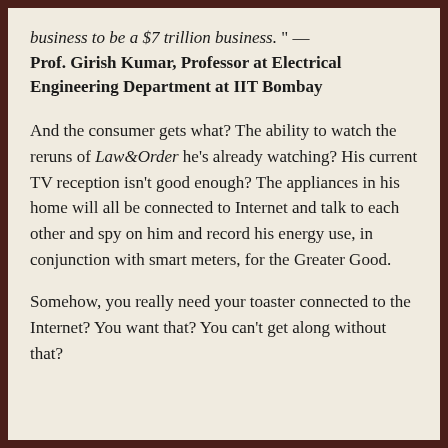business to be a $7 trillion business." — Prof. Girish Kumar, Professor at Electrical Engineering Department at IIT Bombay
And the consumer gets what? The ability to watch the reruns of Law&Order he's already watching? His current TV reception isn't good enough? The appliances in his home will all be connected to Internet and talk to each other and spy on him and record his energy use, in conjunction with smart meters, for the Greater Good.
Somehow, you really need your toaster connected to the Internet? You want that? You can't get along without that?